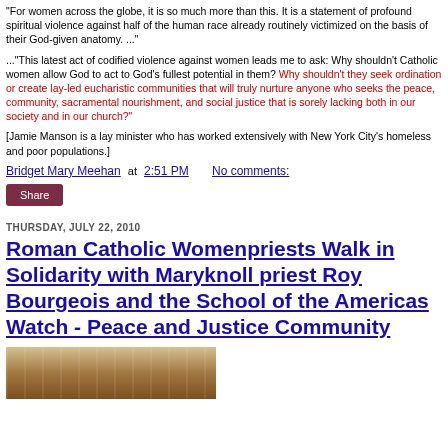"For women across the globe, it is so much more than this. It is a statement of profound spiritual violence against half of the human race already routinely victimized on the basis of their God-given anatomy. ..."
..."This latest act of codified violence against women leads me to ask: Why shouldn't Catholic women allow God to act to God's fullest potential in them? Why shouldn't they seek ordination or create lay-led eucharistic communities that will truly nurture anyone who seeks the peace, community, sacramental nourishment, and social justice that is sorely lacking both in our society and in our church?"
[Jamie Manson is a lay minister who has worked extensively with New York City's homeless and poor populations.]
Bridget Mary Meehan at 2:51 PM    No comments:
Share
THURSDAY, JULY 22, 2010
Roman Catholic Womenpriests Walk in Solidarity with Maryknoll priest Roy Bourgeois and the School of the Americas Watch - Peace and Justice Community
[Figure (photo): Indoor venue photo showing ceiling structure and wooden walls with warm yellow-brown tones]